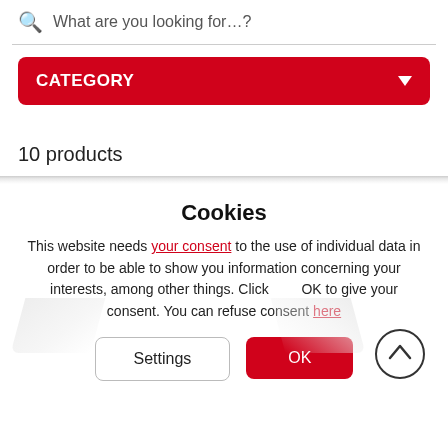What are you looking for…?
CATEGORY
10 products
Cookies
This website needs your consent to the use of individual data in order to be able to show you information concerning your interests, among other things. Click OK to give your consent. You can refuse consent here
Settings
OK